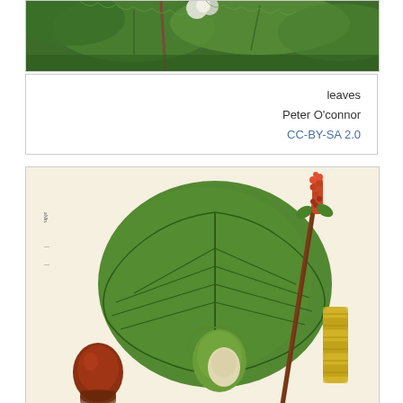[Figure (photo): Close-up photograph of green leaves with serrated edges, showing hazel or similar plant foliage with reddish stems against a dark green background.]
leaves
Peter O'connor
CC-BY-SA 2.0
[Figure (illustration): Botanical illustration of a hazel plant showing a large green leaf, a catkin (yellow pollen spike), a female flower (red spike at top), hazelnuts in green husks, and a cross-section of a hazelnut showing the brown shell. Cream/off-white background typical of scientific botanical plates.]